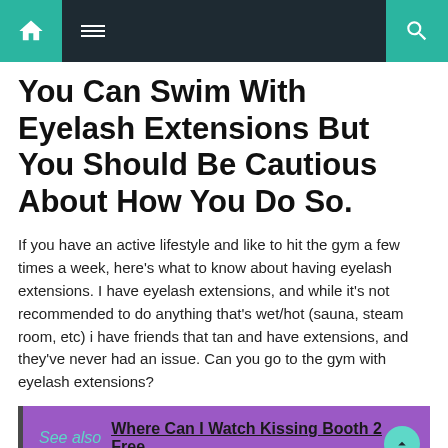Navigation bar with home, menu, and search icons
You Can Swim With Eyelash Extensions But You Should Be Cautious About How You Do So.
If you have an active lifestyle and like to hit the gym a few times a week, here's what to know about having eyelash extensions. I have eyelash extensions, and while it's not recommended to do anything that's wet/hot (sauna, steam room, etc) i have friends that tan and have extensions, and they've never had an issue. Can you go to the gym with eyelash extensions?
See also  Where Can I Watch Kissing Booth 2 Free